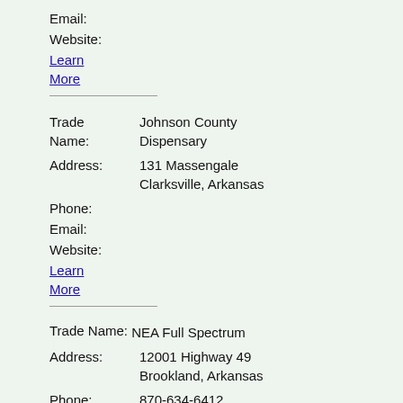Email:
Website:
Learn More
Trade Name: Johnson County Dispensary
Address: 131 Massengale Clarksville, Arkansas
Phone:
Email:
Website:
Learn More
Trade Name: NEA Full Spectrum
Address: 12001 Highway 49 Brookland, Arkansas
Phone: 870-634-6412